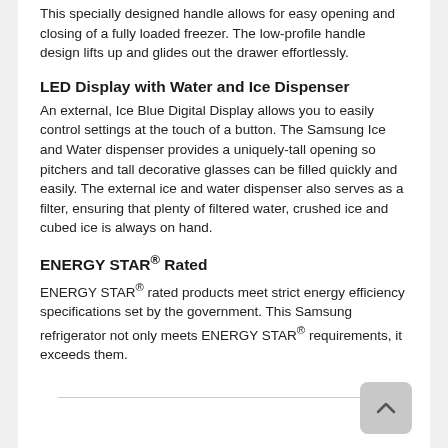This specially designed handle allows for easy opening and closing of a fully loaded freezer. The low-profile handle design lifts up and glides out the drawer effortlessly.
LED Display with Water and Ice Dispenser
An external, Ice Blue Digital Display allows you to easily control settings at the touch of a button. The Samsung Ice and Water dispenser provides a uniquely-tall opening so pitchers and tall decorative glasses can be filled quickly and easily. The external ice and water dispenser also serves as a filter, ensuring that plenty of filtered water, crushed ice and cubed ice is always on hand.
ENERGY STAR® Rated
ENERGY STAR® rated products meet strict energy efficiency specifications set by the government. This Samsung refrigerator not only meets ENERGY STAR® requirements, it exceeds them.